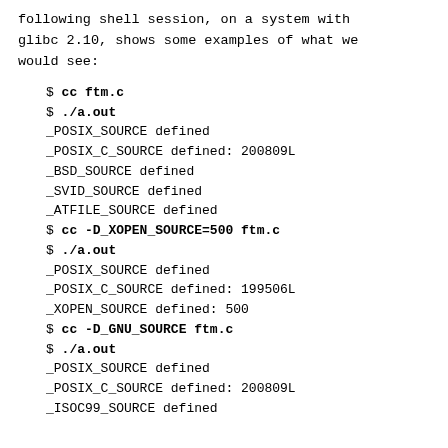following shell session, on a system with glibc 2.10, shows some examples of what we would see:
$ cc ftm.c
$ ./a.out
_POSIX_SOURCE defined
_POSIX_C_SOURCE defined: 200809L
_BSD_SOURCE defined
_SVID_SOURCE defined
_ATFILE_SOURCE defined
$ cc -D_XOPEN_SOURCE=500 ftm.c
$ ./a.out
_POSIX_SOURCE defined
_POSIX_C_SOURCE defined: 199506L
_XOPEN_SOURCE defined: 500
$ cc -D_GNU_SOURCE ftm.c
$ ./a.out
_POSIX_SOURCE defined
_POSIX_C_SOURCE defined: 200809L
_ISOC99_SOURCE defined